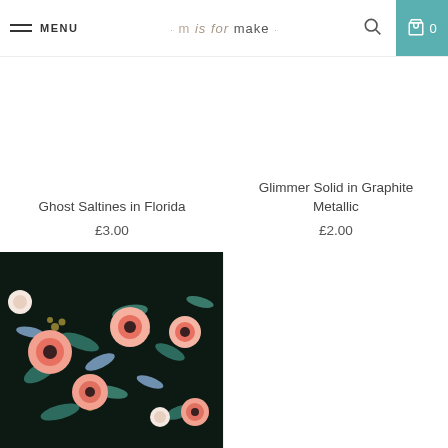MENU · m is for make · 0
Ghost Saltines in Florida
£3.00
Glimmer Solid in Graphite Metallic
£2.00
[Figure (photo): Floral fabric with pink roses and blue/green leaves on dark background]
[Figure (photo): Dark black/charcoal draped fabric with SALE badge in top right corner]